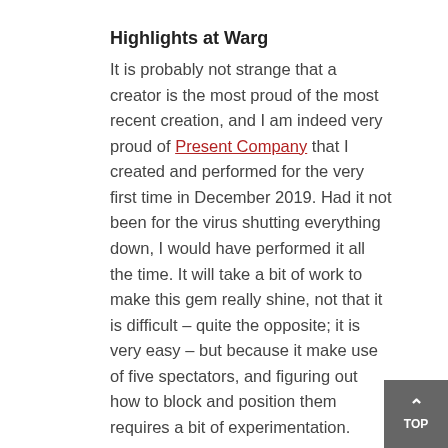Highlights at Warg
It is probably not strange that a creator is the most proud of the most recent creation, and I am indeed very proud of Present Company that I created and performed for the very first time in December 2019. Had it not been for the virus shutting everything down, I would have performed it all the time. It will take a bit of work to make this gem really shine, not that it is difficult – quite the opposite; it is very easy – but because it make use of five spectators, and figuring out how to block and position them requires a bit of experimentation.
Building an Act by Tommy Wonder is another highlight. Solid information on how to create both an act and a full-evening show.